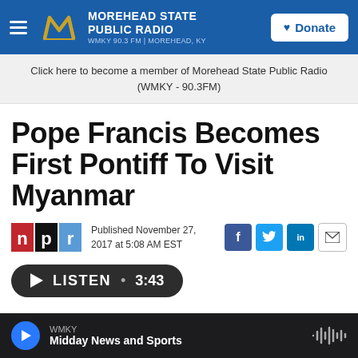MOREHEAD STATE PUBLIC RADIO WMKY 90.3 FM | MOREHEAD, KY — Donate
Click here to become a member of Morehead State Public Radio (WMKY - 90.3FM)
Pope Francis Becomes First Pontiff To Visit Myanmar
Published November 27, 2017 at 5:08 AM EST
LISTEN • 3:43
WMKY Midday News and Sports